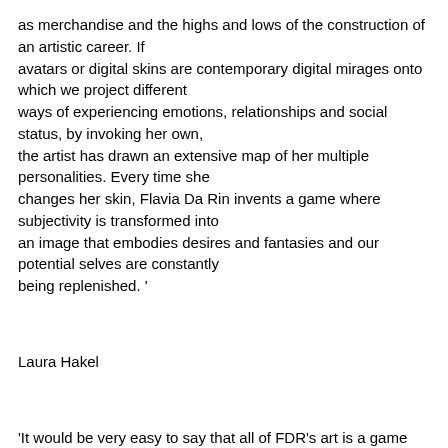as merchandise and the highs and lows of the construction of an artistic career. If avatars or digital skins are contemporary digital mirages onto which we project different ways of experiencing emotions, relationships and social status, by invoking her own, the artist has drawn an extensive map of her multiple personalities. Every time she changes her skin, Flavia Da Rin invents a game where subjectivity is transformed into an image that embodies desires and fantasies and our potential selves are constantly being replenished. '
Laura Hakel
'It would be very easy to say that all of FDR's art is a game she plays with herself, a sumptuous revelry in her own microworlds, an idea that grows more unsettling if one